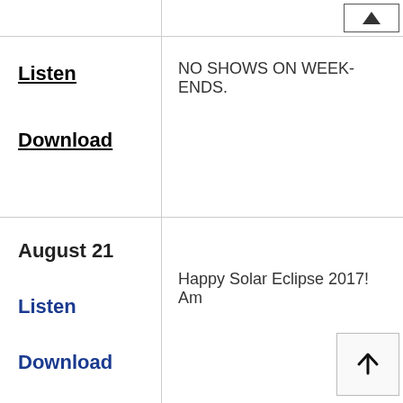|  |  |
| --- | --- |
| Listen
Download | NO SHOWS ON WEEK-ENDS. |
| August 21
Listen
Download | Happy Solar Eclipse 2017! Am |